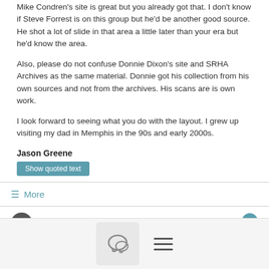Mike Condren's site is great but you already got that. I don't know if Steve Forrest is on this group but he'd be another good source. He shot a lot of slide in that area a little later than your era but he'd know the area.
Also, please do not confuse Donnie Dixon's site and SRHA Archives as the same material. Donnie got his collection from his own sources and not from the archives. His scans are is own work.
I look forward to seeing what you do with the layout. I grew up visiting my dad in Memphis in the 90s and early 2000s.
Jason Greene
Show quoted text
≡ More
May 21  Alexander Smart
[Figure (screenshot): Bottom navigation bar with chat bubble icon and hamburger menu icon]